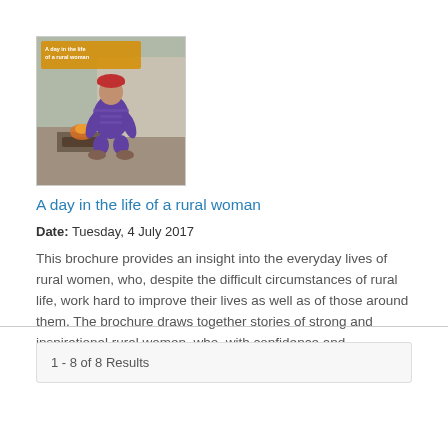[Figure (photo): Book cover showing a rural woman squatting by a fire outdoors, wearing a red hat and purple/blue striped clothing. Text on cover reads 'A day in the life of a rural woman'.]
A day in the life of a rural woman
Date: Tuesday, 4 July 2017
This brochure provides an insight into the everyday lives of rural women, who, despite the difficult circumstances of rural life, work hard to improve their lives as well as of those around them. The brochure draws together stories of strong and inspirational rural women, who, with confidence and determination, changed their lives for the better.
1 - 8 of 8 Results